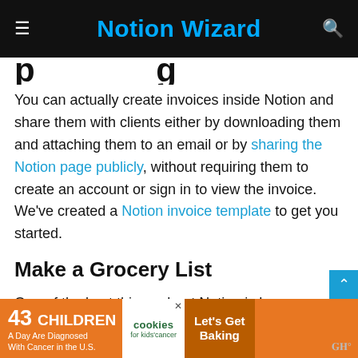Notion Wizard
(partial heading cut off)
You can actually create invoices inside Notion and share them with clients either by downloading them and attaching them to an email or by sharing the Notion page publicly, without requiring them to create an account or sign in to view the invoice. We've created a Notion invoice template to get you started.
Make a Grocery List
One of the best things about Notion is how you can add
[Figure (other): Advertisement banner: '43 CHILDREN A Day Are Diagnosed With Cancer in the U.S.' with cookies for kids' cancer logo and 'Let's Get Baking' call to action]